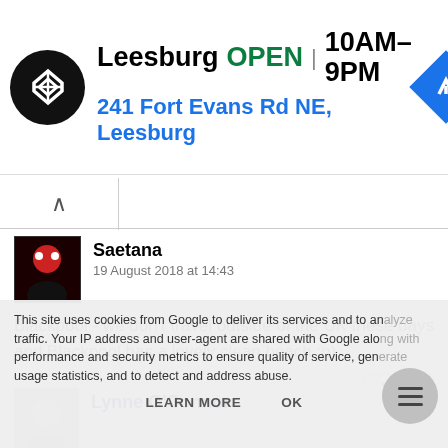[Figure (screenshot): Ad banner for a store in Leesburg showing logo, open status, hours, and address with navigation icon]
Leesburg  OPEN | 10AM–9PM
241 Fort Evans Rd NE, Leesburg
Saetana
19 August 2018 at 14:43
Blackpool - we don't travel outside of the UK these days and Blackpool has a lovely clean beach :o)
Lynne O'Connor
This site uses cookies from Google to deliver its services and to analyze traffic. Your IP address and user-agent are shared with Google along with performance and security metrics to ensure quality of service, generate usage statistics, and to detect and address abuse.